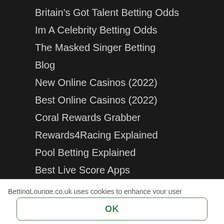Britain's Got Talent Betting Odds
Im A Celebrity Betting Odds
The Masked Singer Betting
Blog
New Online Casinos (2022)
Best Online Casinos (2022)
Coral Rewards Grabber
Rewards4Racing Explained
Pool Betting Explained
Best Live Score Apps
Ladbrokes 1-2-free Explained
BettingLounge.co.uk uses cookies to enhance your user experience. Click here for more information.
OK